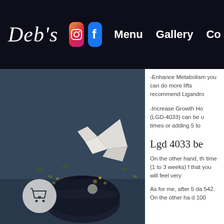Deb's | Menu | Gallery | Co...
[Figure (photo): Dark moody flatlay with tea cup, white paper crane, and scattered dried flowers and herbs on a dark blue-grey surface]
-Enhance Metabolism you can do more lifts recommend Ligandro
-Increase Growth Ho (LGD-4033) can be u times or adding 5 to
Lgd 4033 be
On the other hand, th time (1 to 3 weeks) f that you will feel very
As for me, after 5 da 542. On the other ha d 100